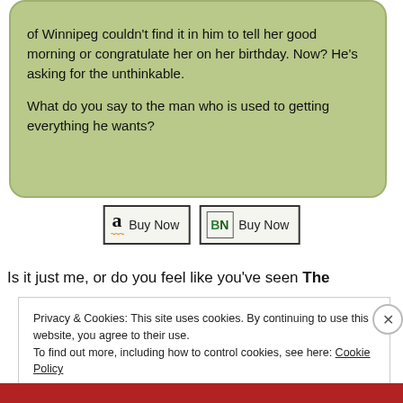of Winnipeg couldn't find it in him to tell her good morning or congratulate her on her birthday. Now? He's asking for the unthinkable.

What do you say to the man who is used to getting everything he wants?
[Figure (other): Amazon 'Buy Now' button and Barnes & Noble 'Buy Now' button side by side]
Is it just me, or do you feel like you've seen The
Privacy & Cookies: This site uses cookies. By continuing to use this website, you agree to their use.
To find out more, including how to control cookies, see here: Cookie Policy
Close and accept